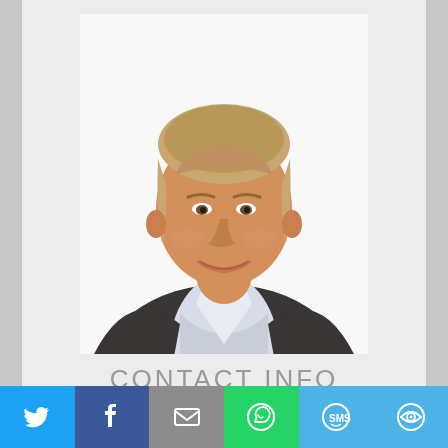[Figure (photo): Professional headshot of a middle-aged man with light hair wearing a dark blazer and light blue dress shirt, smiling, against a white background]
CONTACT INFO
Mobile 832 3471855